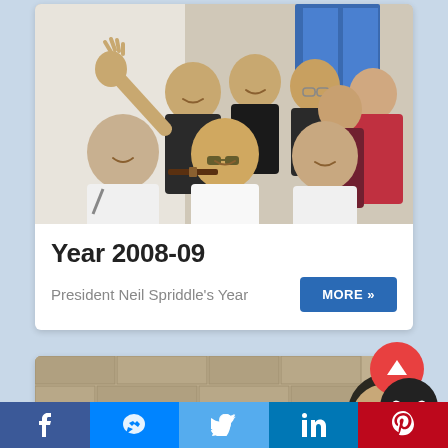[Figure (photo): Group photo of 8 people smiling outdoors, one person waving hand in the air, against a white/blue building backdrop]
Year 2008-09
President Neil Spriddle's Year
[Figure (photo): Partial photo of a person's head visible at bottom of page]
f | messenger | twitter bird | in | pinterest